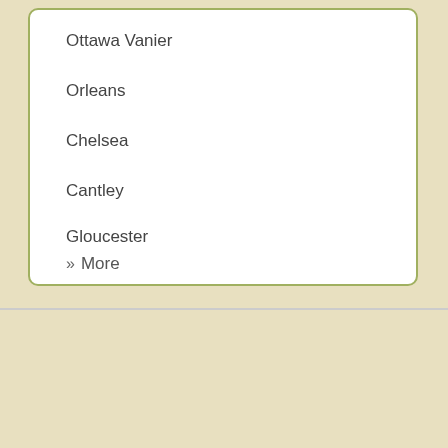Ottawa Vanier
Orleans
Chelsea
Cantley
Gloucester
» More
You have Found the Top Therapists for Addiction And